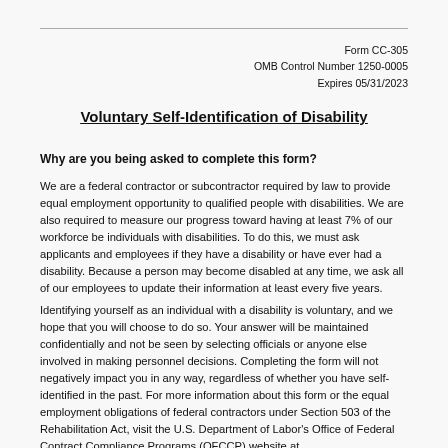Form CC-305
OMB Control Number 1250-0005
Expires 05/31/2023
Voluntary Self-Identification of Disability
Why are you being asked to complete this form?
We are a federal contractor or subcontractor required by law to provide equal employment opportunity to qualified people with disabilities. We are also required to measure our progress toward having at least 7% of our workforce be individuals with disabilities. To do this, we must ask applicants and employees if they have a disability or have ever had a disability. Because a person may become disabled at any time, we ask all of our employees to update their information at least every five years.
Identifying yourself as an individual with a disability is voluntary, and we hope that you will choose to do so. Your answer will be maintained confidentially and not be seen by selecting officials or anyone else involved in making personnel decisions. Completing the form will not negatively impact you in any way, regardless of whether you have self-identified in the past. For more information about this form or the equal employment obligations of federal contractors under Section 503 of the Rehabilitation Act, visit the U.S. Department of Labor's Office of Federal Contract Compliance Programs (OFCCP) website at